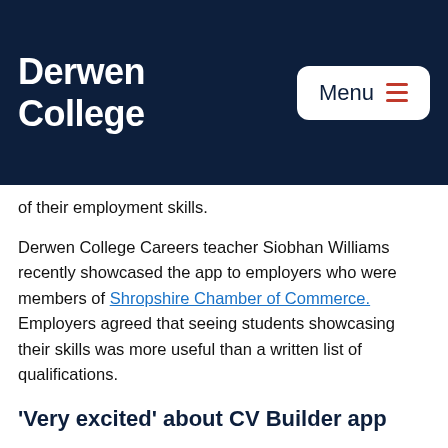Derwen College
of their employment skills.
Derwen College Careers teacher Siobhan Williams recently showcased the app to employers who were members of Shropshire Chamber of Commerce. Employers agreed that seeing students showcasing their skills was more useful than a written list of qualifications.
‘Very excited’ about CV Builder app
Heather Noble of Oswestry-based business and training coaching company Salt Solutions said: